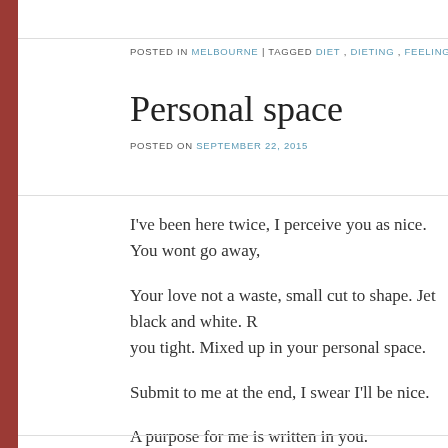POSTED IN MELBOURNE | TAGGED DIET, DIETING, FEELINGS, LOVE, SUNDAY, THOU…
Personal space
POSTED ON SEPTEMBER 22, 2015
I've been here twice, I perceive you as nice. You wont go away,
Your love not a waste, small cut to shape. Jet black and white. R… you tight. Mixed up in your personal space.
Submit to me at the end, I swear I'll be nice.
A purpose for me is written in you.